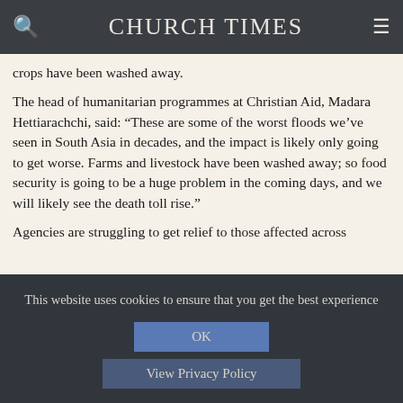CHURCH TIMES
crops have been washed away.
The head of humanitarian programmes at Christian Aid, Madara Hettiarachchi, said: “These are some of the worst floods we’ve seen in South Asia in decades, and the impact is likely only going to get worse. Farms and livestock have been washed away; so food security is going to be a huge problem in the coming days, and we will likely see the death toll rise.”
Agencies are struggling to get relief to those affected across
This website uses cookies to ensure that you get the best experience
OK
View Privacy Policy